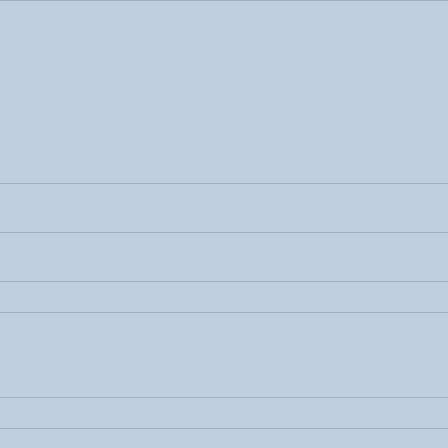| Field | Value |
| --- | --- |
|  | P...
P...
P... |
| Predicted Effect | no...
Tra... |
| Predicted Effect | no...
Tra... |
| Meta Mutation Damage Score | 0.9... |
| Coding Region Coverage | 1x...
3x...
10...
20... |
| Validation Efficiency | 98... |
| MGI Phenotype | FU...
like...
fac...
pro...
tha...
[pr... |